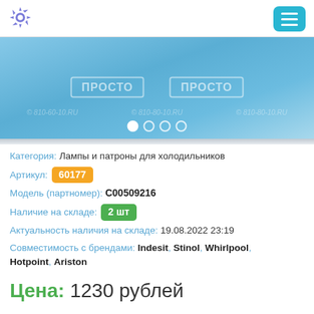Navigation header with gear icon and menu button
[Figure (screenshot): Blue banner with ПРОСТО logos, watermark text '© 810-80-10.RU', and carousel dots at bottom]
Категория: Лампы и патроны для холодильников
Артикул: 60177
Модель (партномер): C00509216
Наличие на складе: 2 шт
Актуальность наличия на складе: 19.08.2022 23:19
Совместимость с брендами: Indesit, Stinol, Whirlpool, Hotpoint, Ariston
Цена: 1230 рублей